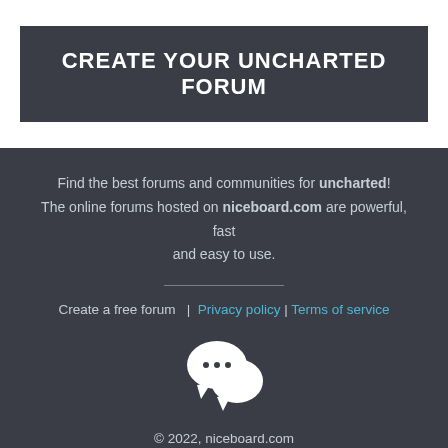CREATE YOUR UNCHARTED FORUM
Find the best forums and communities for uncharted! The online forums hosted on niceboard.com are powerful, fast and easy to use.
Create a free forum  |  Privacy policy | Terms of service
[Figure (illustration): Two overlapping speech bubble / chat icons in white]
© 2022, niceboard.com